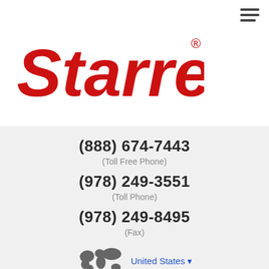[Figure (logo): Starrett red italic logo, large, top of page]
(888) 674-7443
(Toll Free Phone)
(978) 249-3551
(Toll Phone)
(978) 249-8495
(Fax)
[Figure (illustration): World map icon with United States dropdown link]
[Figure (logo): Starrett red italic logo, smaller, bottom-left]